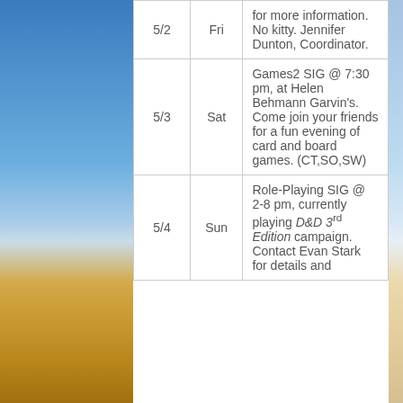| Date | Day | Description |
| --- | --- | --- |
| 5/2 | Fri | for more information. No kitty. Jennifer Dunton, Coordinator. |
| 5/3 | Sat | Games2 SIG @ 7:30 pm, at Helen Behmann Garvin's. Come join your friends for a fun evening of card and board games. (CT,SO,SW) |
| 5/4 | Sun | Role-Playing SIG @ 2-8 pm, currently playing D&D 3rd Edition campaign. Contact Evan Stark for details and |